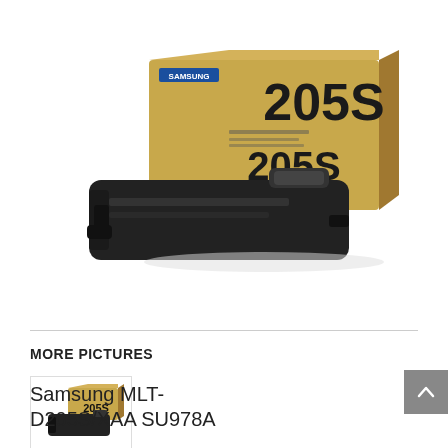[Figure (photo): Samsung MLT-D205S/XAA SU978A toner cartridge product photo showing the toner cartridge in front of its packaging box labeled 205S]
MORE PICTURES
[Figure (photo): Thumbnail of Samsung 205S toner cartridge with box]
Samsung MLT-D205S/XAA SU978A Toner Cartridge